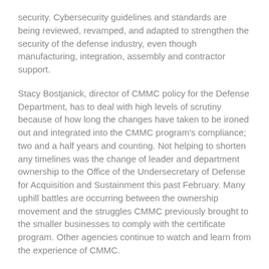security. Cybersecurity guidelines and standards are being reviewed, revamped, and adapted to strengthen the security of the defense industry, even though manufacturing, integration, assembly and contractor support.
Stacy Bostjanick, director of CMMC policy for the Defense Department, has to deal with high levels of scrutiny because of how long the changes have taken to be ironed out and integrated into the CMMC program's compliance; two and a half years and counting. Not helping to shorten any timelines was the change of leader and department ownership to the Office of the Undersecretary of Defense for Acquisition and Sustainment this past February. Many uphill battles are occurring between the ownership movement and the struggles CMMC previously brought to the smaller businesses to comply with the certificate program. Other agencies continue to watch and learn from the experience of CMMC.
“Our plan is to have a phased rollout like we did before to ensure that the CMMC ecosystem is ready and